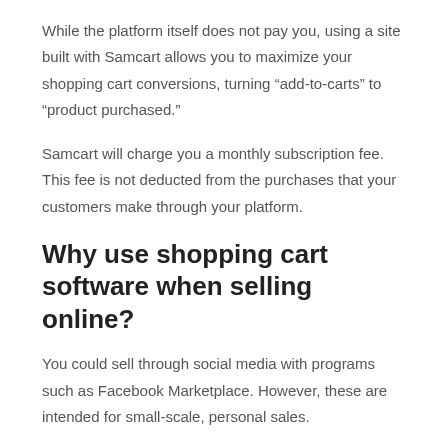While the platform itself does not pay you, using a site built with Samcart allows you to maximize your shopping cart conversions, turning “add-to-carts” to “product purchased.”
Samcart will charge you a monthly subscription fee. This fee is not deducted from the purchases that your customers make through your platform.
Why use shopping cart software when selling online?
You could sell through social media with programs such as Facebook Marketplace. However, these are intended for small-scale, personal sales.
To be a serious retailer, your website must handle transactions and secure financial information.